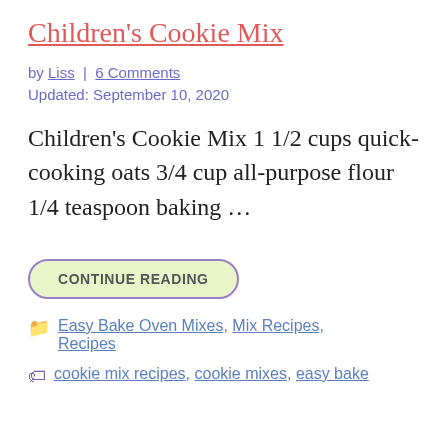Children's Cookie Mix
by Liss | 6 Comments
Updated: September 10, 2020
Children's Cookie Mix 1 1/2 cups quick-cooking oats 3/4 cup all-purpose flour 1/4 teaspoon baking …
CONTINUE READING
Easy Bake Oven Mixes, Mix Recipes, Recipes
cookie mix recipes, cookie mixes, easy bake